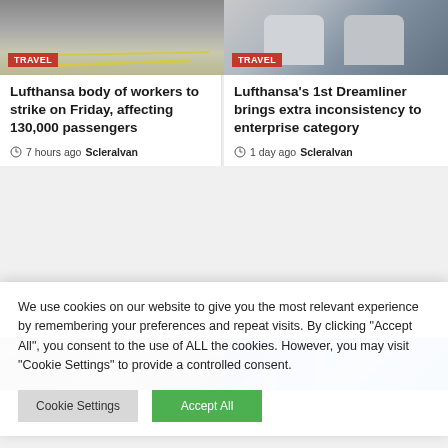[Figure (photo): Aerial view of airport tarmac with yellow line markings]
[Figure (photo): Close-up of Lufthansa Dreamliner airplane seats in business class]
Lufthansa body of workers to strike on Friday, affecting 130,000 passengers
7 hours ago  Scleralvan
Lufthansa's 1st Dreamliner brings extra inconsistency to enterprise category
1 day ago  Scleralvan
[Figure (photo): Trees with branches against sky]
[Figure (photo): Modern blue glass office buildings]
We use cookies on our website to give you the most relevant experience by remembering your preferences and repeat visits. By clicking "Accept All", you consent to the use of ALL the cookies. However, you may visit "Cookie Settings" to provide a controlled consent.